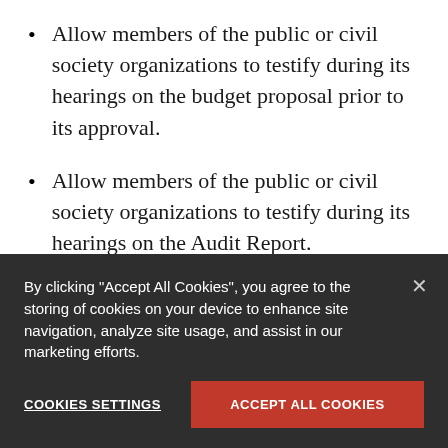Allow members of the public or civil society organizations to testify during its hearings on the budget proposal prior to its approval.
Allow members of the public or civil society organizations to testify during its hearings on the Audit Report.
Burkina Faso's Court of Audit should prioritize the following actions to improve public participation in the budget...
By clicking “Accept All Cookies”, you agree to the storing of cookies on your device to enhance site navigation, analyze site usage, and assist in our marketing efforts.